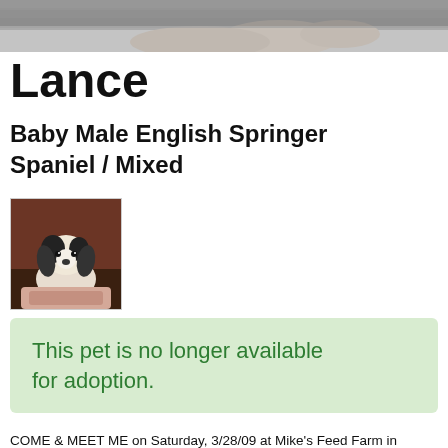[Figure (photo): Top portion of a photo showing a person holding a puppy, cropped at the top of the page]
Lance
Baby Male English Springer Spaniel / Mixed
[Figure (photo): Small thumbnail photo of a black and white puppy being held by a person]
This pet is no longer available for adoption.
COME & MEET ME on Saturday, 3/28/09 at Mike's Feed Farm in Riverdale, NJ from noon-4PM, check the events tab for more info. Also meet me on Sunday, 3/29/09 from noon-2PM at Kabobs, 300 Lakeside Avenue, Glasser